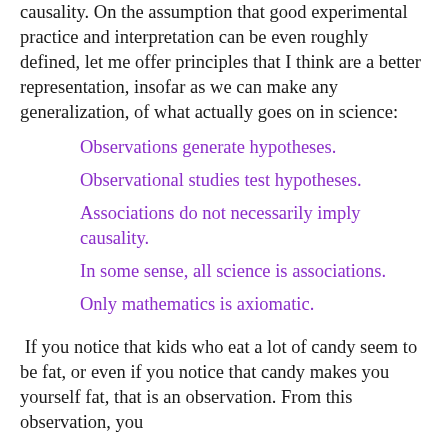causality. On the assumption that good experimental practice and interpretation can be even roughly defined, let me offer principles that I think are a better representation, insofar as we can make any generalization, of what actually goes on in science:
Observations generate hypotheses.
Observational studies test hypotheses.
Associations do not necessarily imply causality.
In some sense, all science is associations.
Only mathematics is axiomatic.
If you notice that kids who eat a lot of candy seem to be fat, or even if you notice that candy makes you yourself fat, that is an observation. From this observation, you